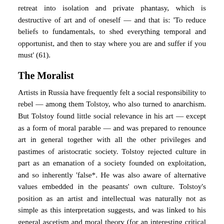retreat into isolation and private phantasy, which is destructive of art and of oneself — and that is: 'To reduce beliefs to fundamentals, to shed everything temporal and opportunist, and then to stay where you are and suffer if you must' (61).
The Moralist
Artists in Russia have frequently felt a social responsibility to rebel — among them Tolstoy, who also turned to anarchism. But Tolstoy found little social relevance in his art — except as a form of moral parable — and was prepared to renounce art in general together with all the other privileges and pastimes of aristocratic society. Tolstoy rejected culture in part as an emanation of a society founded on exploitation, and so inherently 'false*. He was also aware of alternative values embedded in the peasants' own culture. Tolstoy's position as an artist and intellectual was naturally not as simple as this interpretation suggests, and was linked to his general ascetism and moral theory (for an interesting critical discussion, see George Orwell, 'Lear, Tolstoy and the Fool'). But his answer to his dilemma was a little like Gauguin's, in the sense that it was a flight towards simplicity, though in political terms Tolstoy stayed in Russia and defied both the censor and the police. To the degree that he was trying to escape he was doomed to